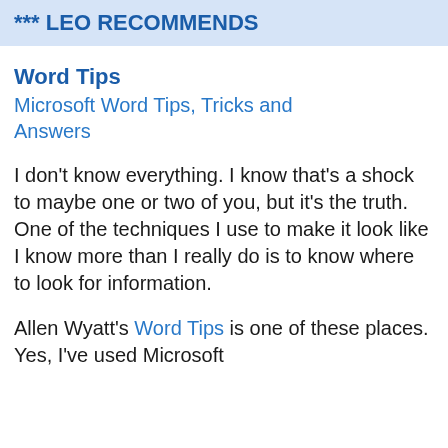*** LEO RECOMMENDS
Word Tips
Microsoft Word Tips, Tricks and Answers
I don't know everything. I know that's a shock to maybe one or two of you, but it's the truth. One of the techniques I use to make it look like I know more than I really do is to know where to look for information.
Allen Wyatt's Word Tips is one of these places. Yes, I've used Microsoft